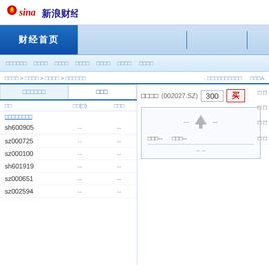Sina 新浪财经
财经首页
□□□□□□  □□□□  □□□□  □□□□  □□□□  □□□□  □□□□
□□□□ > □□□□ > □□□□ > □□□□□□    □□□□□□□□□□    □□□A
| □□ | □□(□) | □□□ |
| --- | --- | --- |
| sh600905 | -- | -- |
| sz000725 | -- | -- |
| sz000100 | -- | -- |
| sh601919 | -- | -- |
| sz000651 | -- | -- |
| sz002594 | -- | -- |
□□□□  (002027.SZ)  300  买
-- ↑ --
□□□--    □□□--
-- --